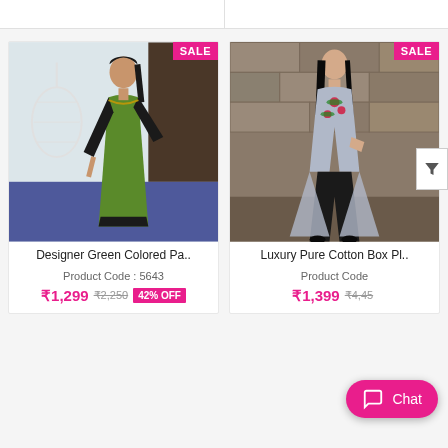[Figure (photo): Woman wearing a green colored party wear long anarkali dress with black embroidery border, SALE badge in top right corner]
Designer Green Colored Pa..
Product Code : 5643
₹1,299  ₹2,250  42% OFF
[Figure (photo): Woman wearing a luxury pure cotton box pleat grey kurti with floral embroidery and black palazzo pants, SALE badge in top right corner]
Luxury Pure Cotton Box Pl..
Product Code
₹1,399  ₹4,45..